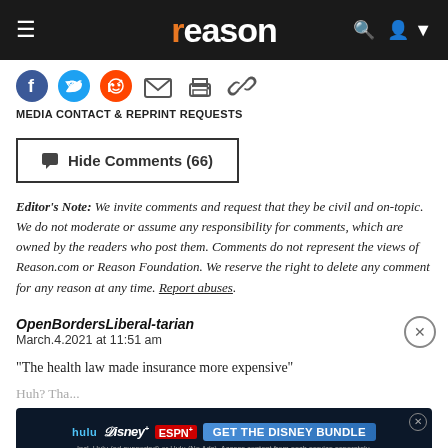reason
MEDIA CONTACT & REPRINT REQUESTS
Hide Comments (66)
Editor's Note: We invite comments and request that they be civil and on-topic. We do not moderate or assume any responsibility for comments, which are owned by the readers who post them. Comments do not represent the views of Reason.com or Reason Foundation. We reserve the right to delete any comment for any reason at any time. Report abuses.
OpenBordersLiberal-tarian
March.4.2021 at 11:51 am
"The health law made insurance more expensive"
Huh? Tha...
Is Mr. Ru... accomplished a... the report and reading the label of experience. He needs to set the record straight.
[Figure (screenshot): Hulu Disney+ ESPN+ advertisement banner: GET THE DISNEY BUNDLE. Incl. Hulu (ad-supported) or Hulu (No Ads). Access content from each service separately. ©2021 Disney and its related entities.]